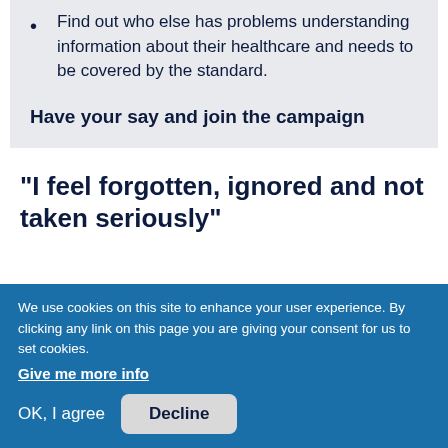Find out who else has problems understanding information about their healthcare and needs to be covered by the standard.
Have your say and join the campaign
“I feel forgotten, ignored and not taken seriously”
We use cookies on this site to enhance your user experience. By clicking any link on this page you are giving your consent for us to set cookies.
Give me more info
OK, I agree
Decline